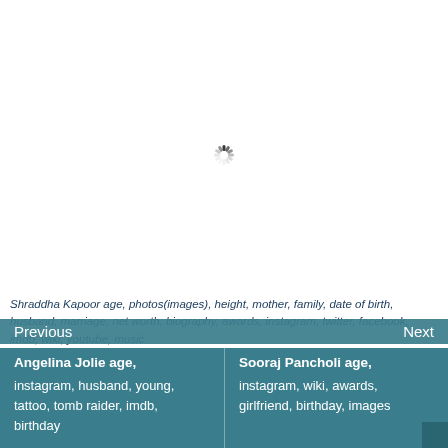[Figure (other): Loading spinner icon (circular dashed/segmented ring indicating content is loading)]
Shraddha Kapoor age, photos(images), height, mother, family, date of birth, husband, marriage, net worth, biography, awards, instagram, twitter, facebook, imdb, wiki, youtube, music
Previous
Next
Angelina Jolie age, instagram, husband, young, tattoo, tomb raider, imdb, birthday
Sooraj Pancholi age, instagram, wiki, awards, girlfriend, birthday, images